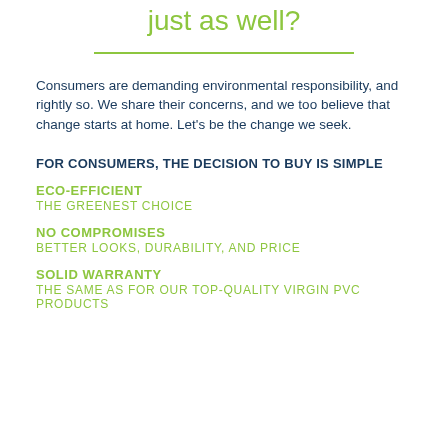just as well?
Consumers are demanding environmental responsibility, and rightly so. We share their concerns, and we too believe that change starts at home. Let's be the change we seek.
FOR CONSUMERS, THE DECISION TO BUY IS SIMPLE
ECO-EFFICIENT
THE GREENEST CHOICE
NO COMPROMISES
BETTER LOOKS, DURABILITY, AND PRICE
SOLID WARRANTY
THE SAME AS FOR OUR TOP-QUALITY VIRGIN PVC PRODUCTS